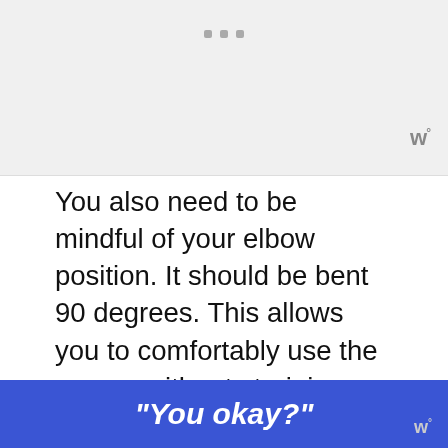[Figure (other): Top advertisement banner area with grey background and three small square dots/indicators centered near top]
You also need to be mindful of your elbow position. It should be bent 90 degrees. This allows you to comfortably use the mouse without straining your shoulder or arm. It also gives your wrist better mobility.
Finally, and most importantly, take breaks! Our bodies aren't designed to be in an unnatural seating position for eight hours a day. Stretch your hands and body every hour or so to improve circulation.
[Figure (other): WHAT'S NEXT arrow label with thumbnail image and text: Is Sitting On a Stool Bad F...]
[Figure (other): Bottom blue advertisement banner with italic text: "You okay?" and watermark logo on right]